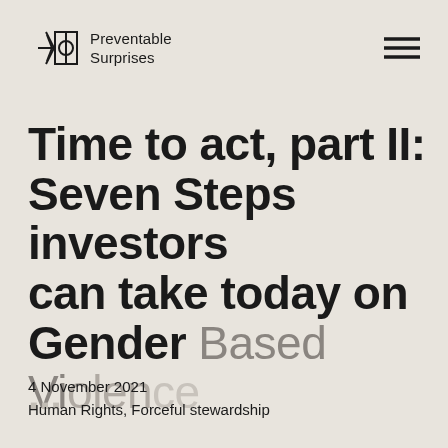Preventable Surprises
Time to act, part II: Seven Steps investors can take today on Gender Based Violence
4 November 2021
Human Rights, Forceful stewardship